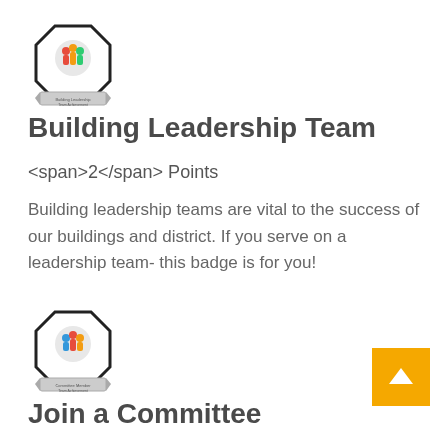[Figure (logo): Building Leadership Team badge — octagonal badge with colorful hands/people logo and ribbon banner]
Building Leadership Team
<span>2</span> Points
Building leadership teams are vital to the success of our buildings and district. If you serve on a leadership team- this badge is for you!
[Figure (logo): Join a Committee badge — octagonal badge with colorful hands/people logo and ribbon banner]
Join a Committee
<span>2</span> Points
You can earn this badge for being an active member